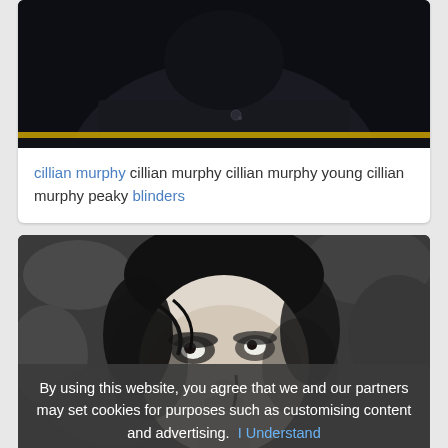[Figure (photo): Black and white or dark photo showing a person wearing a dark jacket, upper torso visible with a button detail, yellow stripe visible at bottom]
cillian murphy cillian murphy cillian murphy young cillian murphy peaky blinders
[Figure (photo): Black and white photo of a young man looking upward, face lit dramatically against a stone or rocky background, with a dark tear or mark on cheek]
By using this website, you agree that we and our partners may set cookies for purposes such as customising content and advertising. I Understand